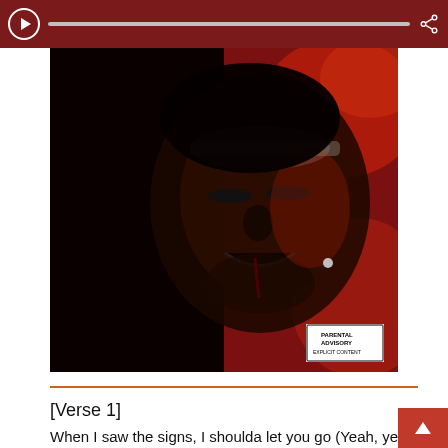[Figure (screenshot): Music player bar with play button, progress bar, and share icon on dark red background]
[Figure (photo): Album cover art for The Weeknd - After Hours. Close-up of a man's face with red and dark tones, eyes closed, appearing to look upward. Parental Advisory label in bottom right corner.]
[Verse 1]
When I saw the signs, I shoulda let you go (Yeah, yeah)